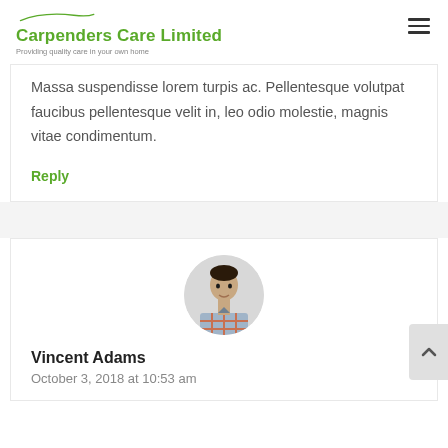Carpenders Care Limited — Providing quality care in your own home
Massa suspendisse lorem turpis ac. Pellentesque volutpat faucibus pellentesque velit in, leo odio molestie, magnis vitae condimentum.
Reply
[Figure (photo): Circular avatar photo of a young man in a plaid shirt]
Vincent Adams
October 3, 2018 at 10:53 am